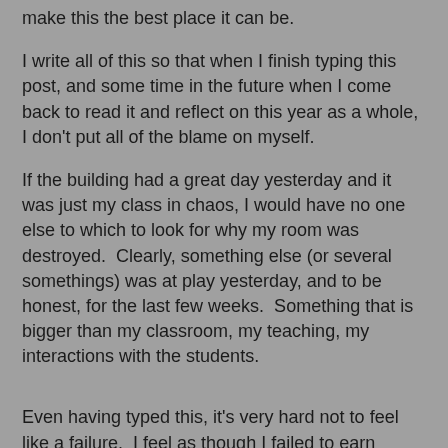make this the best place it can be.
I write all of this so that when I finish typing this post, and some time in the future when I come back to read it and reflect on this year as a whole, I don't put all of the blame on myself.
If the building had a great day yesterday and it was just my class in chaos, I would have no one else to which to look for why my room was destroyed.  Clearly, something else (or several somethings) was at play yesterday, and to be honest, for the last few weeks.  Something that is bigger than my classroom, my teaching, my interactions with the students.
Even having typed this, it's very hard not to feel like a failure.  I feel as though I failed to earn sufficient respect from those students to keep them from ... I don't even know what.  I'm at a complete loss.
With all of the success that I've had with the geometry